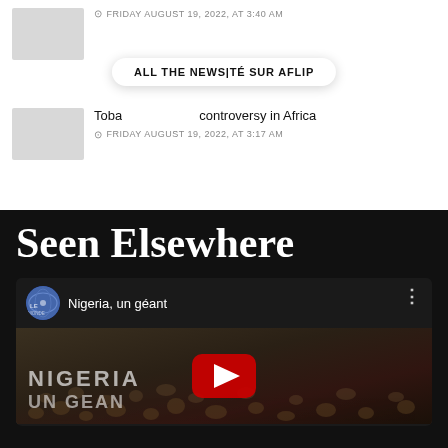FRIDAY AUGUST 19, 2022, AT 3:40 AM
ALL THE NEWS|TÉ SUR AFLIP
Toba[...] controversy in Africa
FRIDAY AUGUST 19, 2022, AT 3:17 AM
Seen Elsewhere
[Figure (screenshot): YouTube video embed showing 'Nigeria, un géant' with channel avatar, video title, three-dot menu, and thumbnail with crowd background and NIGERIA / UN GEAN text overlay and YouTube play button]